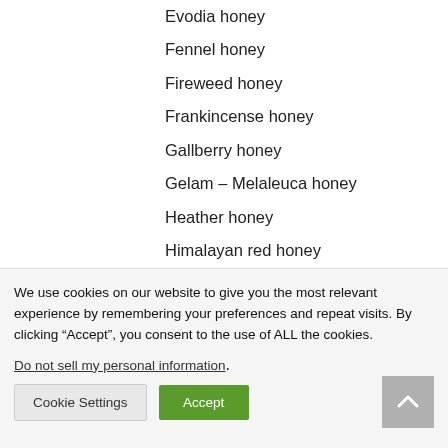Evodia honey
Fennel honey
Fireweed honey
Frankincense honey
Gallberry honey
Gelam – Melaleuca honey
Heather honey
Himalayan red honey
Honeydew honey
Horehound honey
We use cookies on our website to give you the most relevant experience by remembering your preferences and repeat visits. By clicking “Accept”, you consent to the use of ALL the cookies.
Do not sell my personal information.